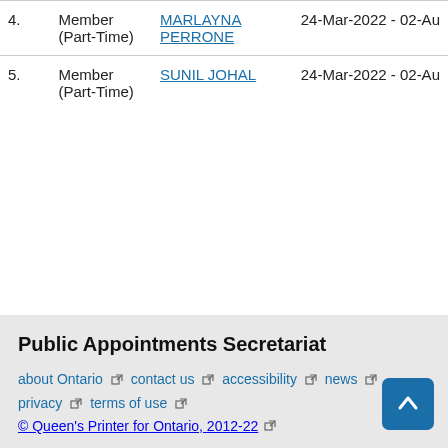| # | Role | Name | Date |
| --- | --- | --- | --- |
| 4. | Member (Part-Time) | MARLAYNA PERRONE | 24-Mar-2022 - 02-Au |
| 5. | Member (Part-Time) | SUNIL JOHAL | 24-Mar-2022 - 02-Au |
Public Appointments Secretariat
about Ontario  contact us  accessibility  news  privacy  terms of use
© Queen's Printer for Ontario, 2012-22